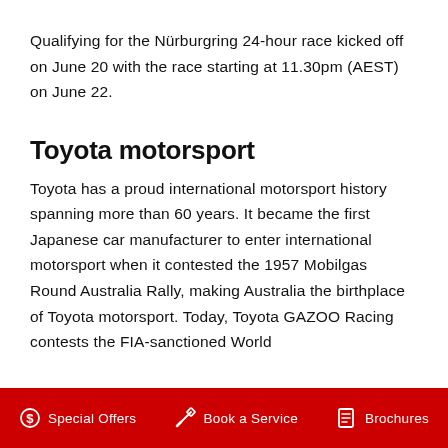Qualifying for the Nürburgring 24-hour race kicked off on June 20 with the race starting at 11.30pm (AEST) on June 22.
Toyota motorsport
Toyota has a proud international motorsport history spanning more than 60 years. It became the first Japanese car manufacturer to enter international motorsport when it contested the 1957 Mobilgas Round Australia Rally, making Australia the birthplace of Toyota motorsport. Today, Toyota GAZOO Racing contests the FIA-sanctioned World
Special Offers   Book a Service   Brochures